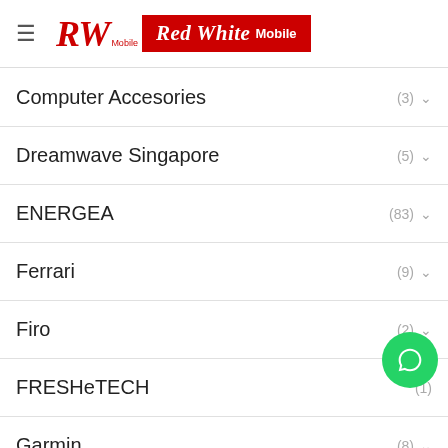Red White Mobile — navigation header with logo
Computer Accesories (3)
Dreamwave Singapore (5)
ENERGEA (83)
Ferrari (9)
Firo (2)
FRESHeTECH (1)
Garmin (8)
Google (7)
Honor (0)
HTC (0)